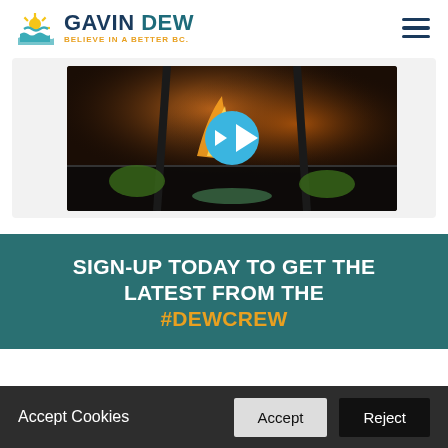GAVIN DEW — BELIEVE IN A BETTER BC.
[Figure (screenshot): Video thumbnail showing a fire/flame scene with a blue circular play button overlay]
SIGN-UP TODAY TO GET THE LATEST FROM THE #DEWCREW
Accept Cookies
Accept
Reject